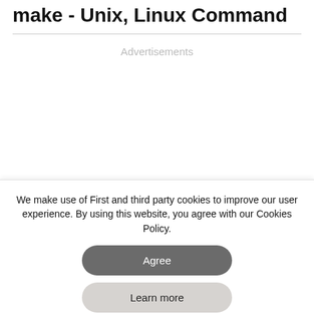make - Unix, Linux Command
[Figure (other): Advertisements placeholder area]
We make use of First and third party cookies to improve our user experience. By using this website, you agree with our Cookies Policy.
Agree
Learn more